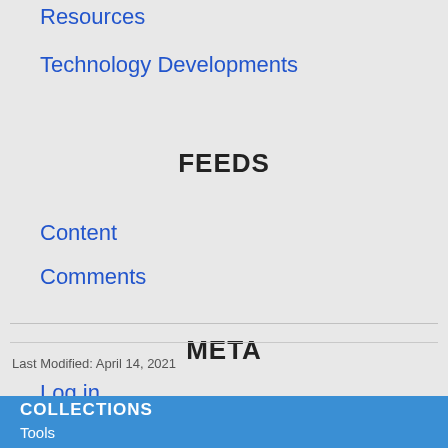Resources
Technology Developments
FEEDS
Content
Comments
META
Log in
Last Modified: April 14, 2021
COLLECTIONS
Tools